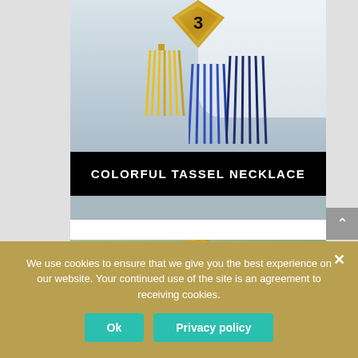[Figure (photo): Photo of a colorful tassel necklace with yellow, blue, and navy tassels against a white beaded dress. A gold diamond-shaped badge with number 3 is overlaid at the top center.]
COLORFUL TASSEL NECKLACE
[Figure (photo): Photo of hands holding blue and pink organza bags with sequins against a green background. A gold diamond-shaped badge with number 4 is overlaid at the top center.]
We use cookies to ensure that we give you the best experience on our website. Your continued use of the site is an agreement to receiving cookies.
Ok   Privacy policy